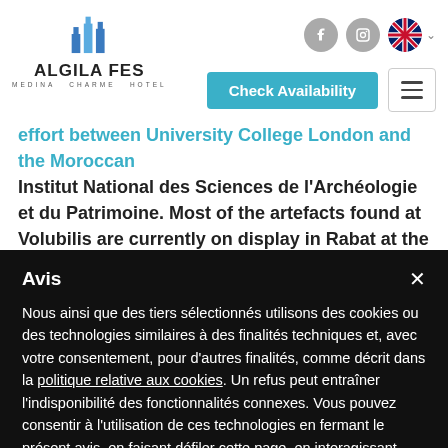[Figure (logo): Algila Fes Medina Charme Hotel logo with blue building icon and text]
effort between University College London and the Moroccan Institut National des Sciences de l'Archéologie et du Patrimoine. Most of the artefacts found at Volubilis are currently on display in Rabat at the Archaeological Museum, but a new exhibition
Avis
Nous ainsi que des tiers sélectionnés utilisons des cookies ou des technologies similaires à des finalités techniques et, avec votre consentement, pour d'autres finalités, comme décrit dans la politique relative aux cookies. Un refus peut entraîner l'indisponibilité des fonctionnalités connexes. Vous pouvez consentir à l'utilisation de ces technologies en fermant le présent avis, en faisant défiler cette page, en interagissant avec tout lien ou bouton en dehors de cet avis ou en poursuivant votre navigation.